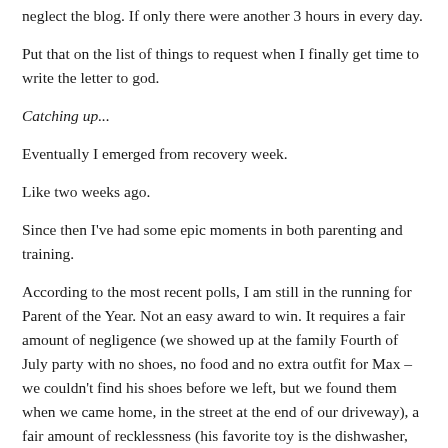neglect the blog. If only there were another 3 hours in every day.
Put that on the list of things to request when I finally get time to write the letter to god.
Catching up...
Eventually I emerged from recovery week.
Like two weeks ago.
Since then I've had some epic moments in both parenting and training.
According to the most recent polls, I am still in the running for Parent of the Year. Not an easy award to win. It requires a fair amount of negligence (we showed up at the family Fourth of July party with no shoes, no food and no extra outfit for Max – we couldn't find his shoes before we left, but we found them when we came home, in the street at the end of our driveway), a fair amount of recklessness (his favorite toy is the dishwasher, and when I found him with an old onion in his mouth I thought…that's awesome) and a fair amount of "if he needs me, I'll hear him" (we